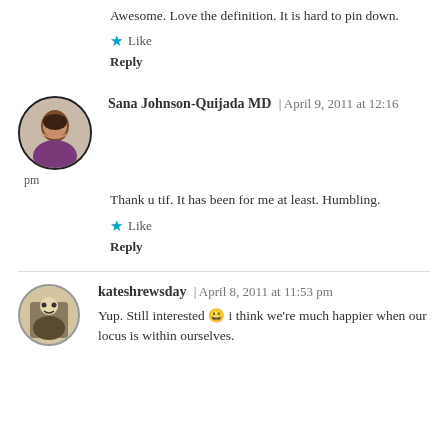Awesome. Love the definition. It is hard to pin down.
Like
Reply
Sana Johnson-Quijada MD | April 9, 2011 at 12:16 pm
Thank u tif. It has been for me at least. Humbling.
Like
Reply
kateshrewsday | April 8, 2011 at 11:53 pm
Yup. Still interested 😀 i think we're much happier when our locus is within ourselves.